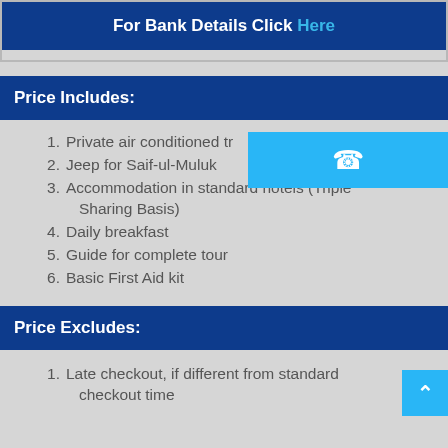For Bank Details Click Here
Price Includes:
Private air conditioned tr
Jeep for Saif-ul-Muluk
Accommodation in standard hotels (Triple Sharing Basis)
Daily breakfast
Guide for complete tour
Basic First Aid kit
Price Excludes:
Late checkout, if different from standard checkout time